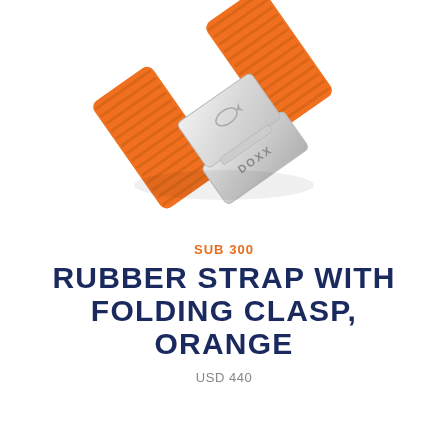[Figure (photo): Orange rubber watch strap with silver stainless steel folding clasp engraved with DOXA and a fish logo, photographed on white background from above at an angle]
SUB 300
RUBBER STRAP WITH FOLDING CLASP, ORANGE
USD 440